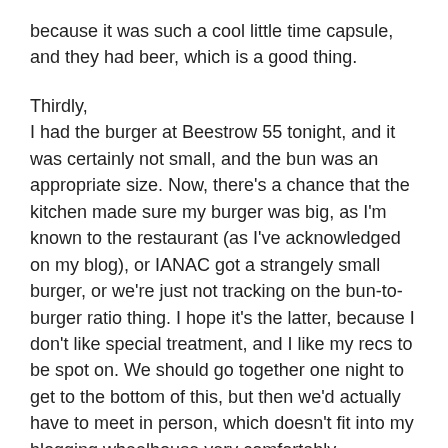because it was such a cool little time capsule, and they had beer, which is a good thing.
Thirdly,
I had the burger at Beestrow 55 tonight, and it was certainly not small, and the bun was an appropriate size. Now, there's a chance that the kitchen made sure my burger was big, as I'm known to the restaurant (as I've acknowledged on my blog), or IANAC got a strangely small burger, or we're just not tracking on the bun-to-burger ratio thing. I hope it's the latter, because I don't like special treatment, and I like my recs to be spot on. We should go together one night to get to the bottom of this, but then we'd actually have to meet in person, which doesn't fit into my blogging wheelhouse very comfortably. Exceptions have been made in the past, however, to which Curlz might attest, if pushed.